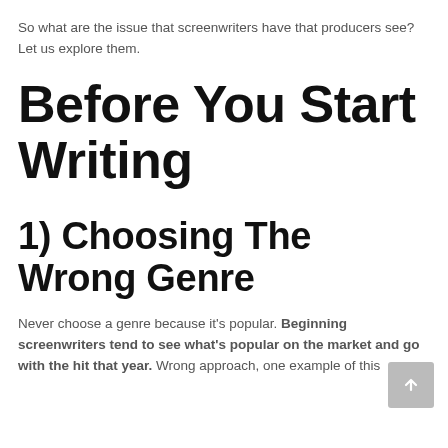So what are the issue that screenwriters have that producers see? Let us explore them.
Before You Start Writing
1) Choosing The Wrong Genre
Never choose a genre because it's popular. Beginning screenwriters tend to see what's popular on the market and go with the hit that year. Wrong approach, one example of this